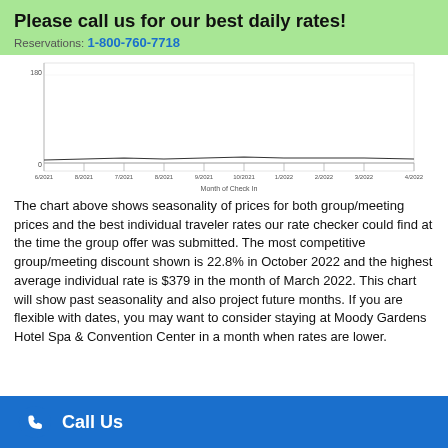Please call us for our best daily rates!
Reservations: 1-800-760-7718
[Figure (continuous-plot): Line chart showing seasonality of prices over months of check-in from 6/2021 to 4/2022, with axes and gridlines but no distinct labeled data points extractable.]
The chart above shows seasonality of prices for both group/meeting prices and the best individual traveler rates our rate checker could find at the time the group offer was submitted. The most competitive group/meeting discount shown is 22.8% in October 2022 and the highest average individual rate is $379 in the month of March 2022. This chart will show past seasonality and also project future months. If you are flexible with dates, you may want to consider staying at Moody Gardens Hotel Spa & Convention Center in a month when rates are lower.
Call Us